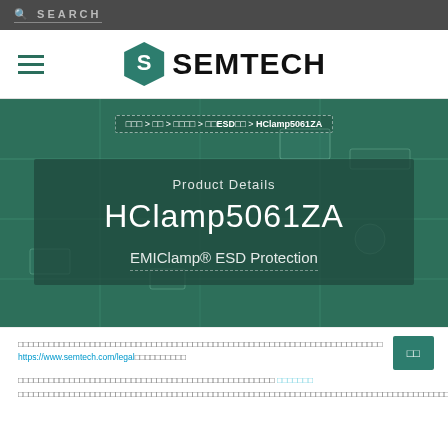SEARCH
[Figure (logo): Semtech logo with stylized S mark and SEMTECH wordmark]
[Figure (photo): Hero banner showing green-tinted circuit board with breadcrumb navigation, Product Details label, HClamp5061ZA product name, and EMIClamp ESD Protection subtitle]
Cookie notice with link https://www.semtech.com/legal and accept button
Second notice paragraph with colored link text